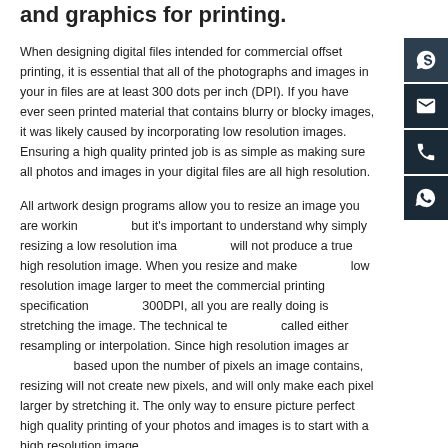and graphics for printing.
When designing digital files intended for commercial offset printing, it is essential that all of the photographs and images in your in files are at least 300 dots per inch (DPI). If you have ever seen printed material that contains blurry or blocky images, it was likely caused by incorporating low resolution images. Ensuring a high quality printed job is as simple as making sure all photos and images in your digital files are all high resolution.
All artwork design programs allow you to resize an image you are working with, but it's important to understand why simply resizing a low resolution image will not produce a true high resolution image. When you resize and make a low resolution image larger to meet the commercial printing specifications of 300DPI, all you are really doing is stretching the image. The technical term is called either resampling or interpolation. Since high resolution images are based upon the number of pixels an image contains, resizing will not create new pixels, and will only make each pixel larger by stretching it. The only way to ensure picture perfect high quality printing of your photos and images is to start with a high resolution image.
Taxes and Duties